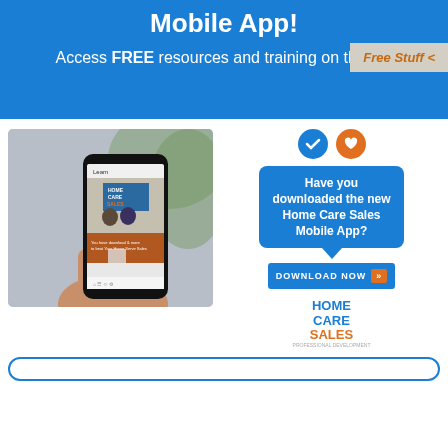Mobile App!
Access FREE resources and training on the go!
Free Stuff <
[Figure (photo): Hand holding a smartphone displaying the Home Care Sales mobile app with two women on screen and a learn section visible]
Have you downloaded the new Home Care Sales Mobile App?
DOWNLOAD NOW >>
HOME CARE SALES